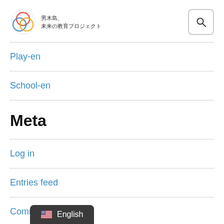[Figure (logo): Circular colorful logo with Japanese text: 男木島、未来の教育プロジェクト]
Play-en
School-en
Meta
Log in
Entries feed
Comments feed
WordPress.org
English